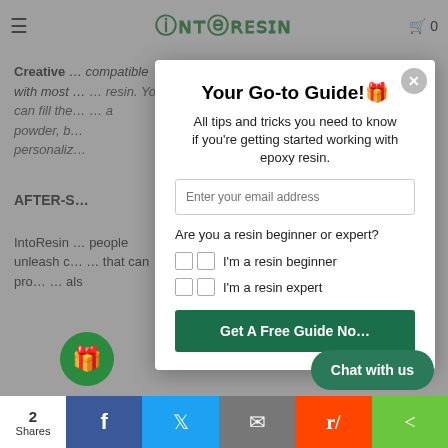[Figure (screenshot): Website header with hamburger menu, IntoResin logo, and cart icon showing 0]
Creative ... compatible with most ... resin. You can fill the ... ica powder, b... personaliz...
AFTER-S...
IntoResin ... people unleash c... that can pro... als
Your Go-to Guide!🎁
All tips and tricks you need to know if you're getting started working with epoxy resin.
Enter your email address
Are you a resin beginner or expert?
I'm a resin beginner
I'm a resin expert
Get A Free Guide No...
Chat with us
2 Shares